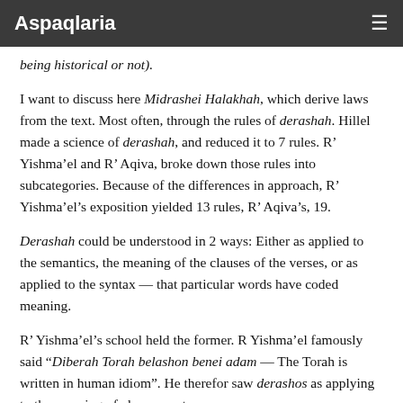Aspaqlaria
being historical or not).
I want to discuss here Midrashei Halakhah, which derive laws from the text. Most often, through the rules of derashah. Hillel made a science of derashah, and reduced it to 7 rules. R’ Yishma’el and R’ Aqiva, broke down those rules into subcategories. Because of the differences in approach, R’ Yishma’el’s exposition yielded 13 rules, R’ Aqiva’s, 19.
Derashah could be understood in 2 ways: Either as applied to the semantics, the meaning of the clauses of the verses, or as applied to the syntax — that particular words have coded meaning.
R’ Yishma’el’s school held the former. R Yishma’el famously said “Diberah Torah belashon benei adam — The Torah is written in human idiom”. He therefor saw derashos as applying to the meaning of clauses, not